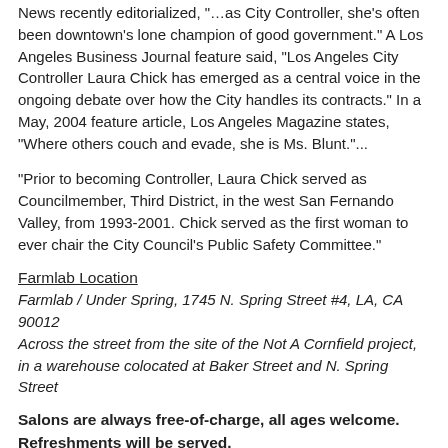News recently editorialized, "…as City Controller, she's often been downtown's lone champion of good government." A Los Angeles Business Journal feature said, "Los Angeles City Controller Laura Chick has emerged as a central voice in the ongoing debate over how the City handles its contracts." In a May, 2004 feature article, Los Angeles Magazine states, "Where others couch and evade, she is Ms. Blunt."...
"Prior to becoming Controller, Laura Chick served as Councilmember, Third District, in the west San Fernando Valley, from 1993-2001. Chick served as the first woman to ever chair the City Council's Public Safety Committee."
Farmlab Location
Farmlab / Under Spring, 1745 N. Spring Street #4, LA, CA 90012
Across the street from the site of the Not A Cornfield project, in a warehouse colocated at Baker Street and N. Spring Street
Salons are always free-of-charge, all ages welcome. Refreshments will be served.